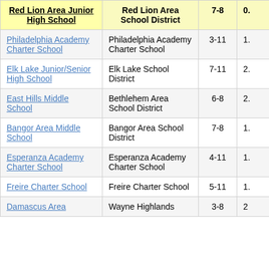| Red Lion Area Junior High School | Red Lion Area School District | 7-8 | 0. |
| --- | --- | --- | --- |
| Philadelphia Academy Charter School | Philadelphia Academy Charter School | 3-11 | 1. |
| Elk Lake Junior/Senior High School | Elk Lake School District | 7-11 | 2. |
| East Hills Middle School | Bethlehem Area School District | 6-8 | 2. |
| Bangor Area Middle School | Bangor Area School District | 7-8 | 1. |
| Esperanza Academy Charter School | Esperanza Academy Charter School | 4-11 | 1. |
| Freire Charter School | Freire Charter School | 5-11 | 1. |
| Damascus Area | Wayne Highlands | 3-8 | 2 |